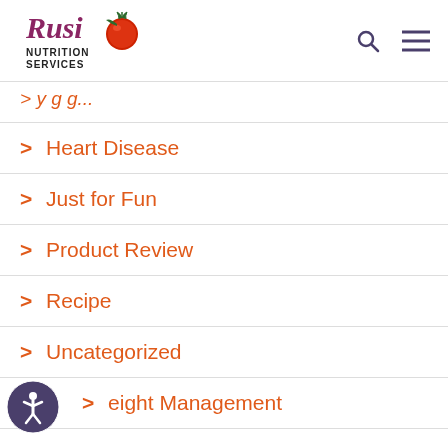[Figure (logo): Russ Nutrition Services logo with tomato graphic]
> Heart Disease
> Just for Fun
> Product Review
> Recipe
> Uncategorized
> Weight Management
[Figure (illustration): Accessibility icon (person in circle) bottom left]